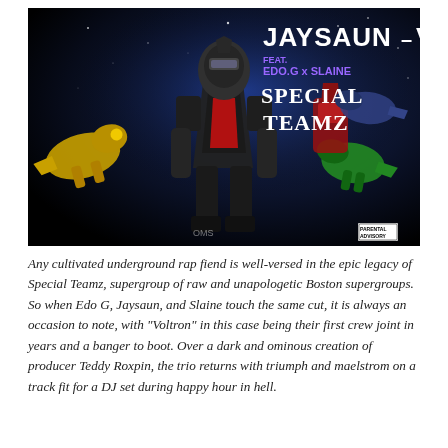[Figure (illustration): Album cover art for Jaysaun - Voltron featuring Edo.G x Slaine, Special Teamz. Shows robotic figures (Voltron lions/mechs) against a dark space background with text overlay showing the artist and song name.]
Any cultivated underground rap fiend is well-versed in the epic legacy of Special Teamz, supergroup of raw and unapologetic Boston supergroups. So when Edo G, Jaysaun, and Slaine touch the same cut, it is always an occasion to note, with "Voltron" in this case being their first crew joint in years and a banger to boot. Over a dark and ominous creation of producer Teddy Roxpin, the trio returns with triumph and maelstrom on a track fit for a DJ set during happy hour in hell.
A couple lists...